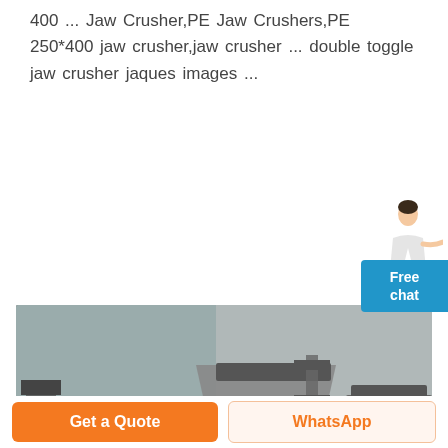400 ... Jaw Crusher,PE Jaw Crushers,PE 250*400 jaw crusher,jaw crusher ... double toggle jaw crusher jaques images ...
[Figure (photo): Industrial mining equipment including jaw crushers and impact crushers in a factory or outdoor industrial setting. XME Mining Equipment logo visible in green on the equipment.]
Free chat
Get a Quote
WhatsApp